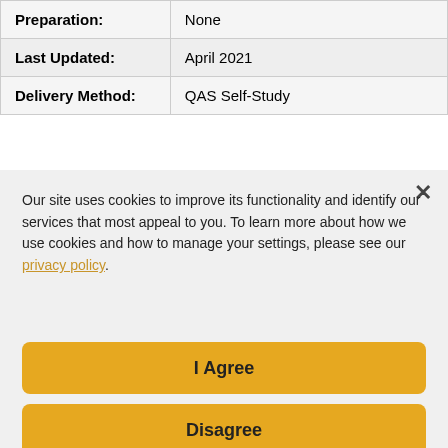| Preparation: | None |
| Last Updated: | April 2021 |
| Delivery Method: | QAS Self-Study |
Our site uses cookies to improve its functionality and identify our services that most appeal to you. To learn more about how we use cookies and how to manage your settings, please see our privacy policy.